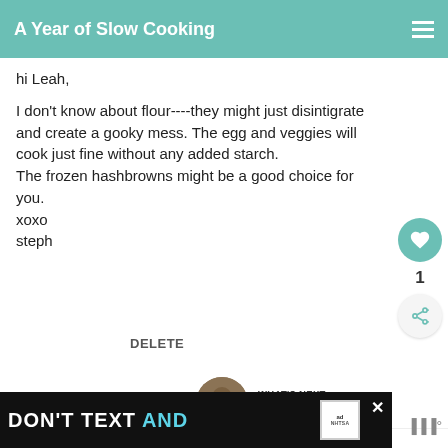A Year of Slow Cooking
hi Leah,

I don't know about flour----they might just disintigrate and create a gooky mess. The egg and veggies will cook just fine without any added starch.
The frozen hashbrowns might be a good choice for you.
xoxo
steph
DELETE
WHAT'S NEXT → Slow Cooker Ultimate...
BLAKELY
DON'T TEXT AND